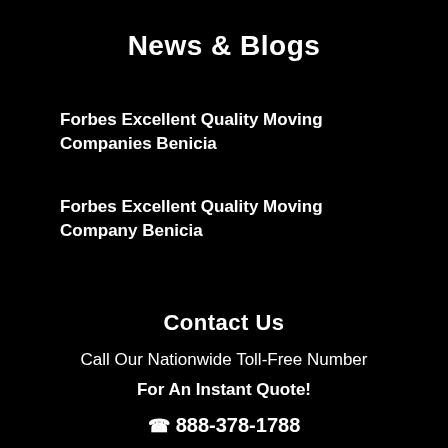News & Blogs
Forbes Excellent Quality Moving Companies Benicia
Forbes Excellent Quality Moving Company Benicia
Contact Us
Call Our Nationwide Toll-Free Number
For An Instant Quote!
888-378-1788